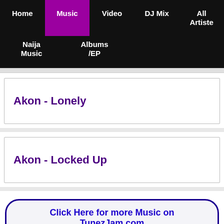Home | Music | Video | DJ Mix | All Artiste | Naija Music | Albums/EP
Akon - Lonely
Akon - Locked Up
Click Here for more Music on TunezJam.com